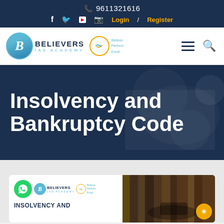📞 9611321616  f  🐦  ▶  📷  Login / Register
[Figure (logo): Believers IAS Academy logo with circular B icon and handshake icon with tagline Believe Perform Excel]
Insolvency and Bankruptcy Code
[Figure (screenshot): Card with Believers IAS Academy logo and WhatsApp icon on the left, books and gavel image on the right, with INSOLVENCY AND text partially visible]